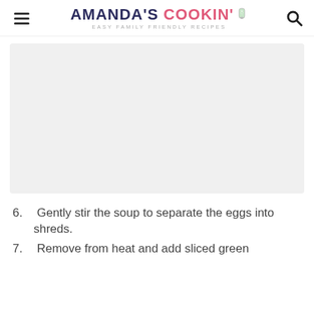AMANDA'S COOKIN' — EASY FAMILY FRIENDLY RECIPES
[Figure (photo): Large image placeholder with light gray background, likely a food photo for the recipe]
6. Gently stir the soup to separate the eggs into shreds.
7. Remove from heat and add sliced green